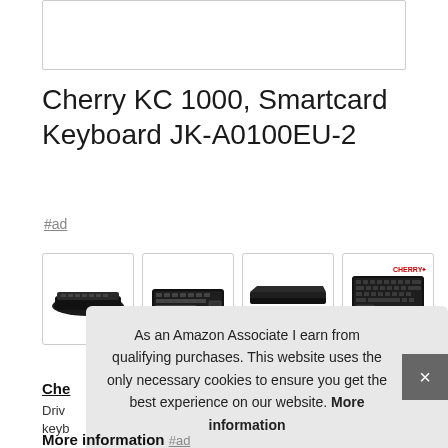[Figure (other): Partially visible product image box at top of page]
Cherry KC 1000, Smartcard Keyboard JK-A0100EU-2
#ad
[Figure (photo): Four product thumbnail images of Cherry KC 1000 keyboard from different angles]
Che
Driv
keyb
As an Amazon Associate I earn from qualifying purchases. This website uses the only necessary cookies to ensure you get the best experience on our website. More information
More information #ad